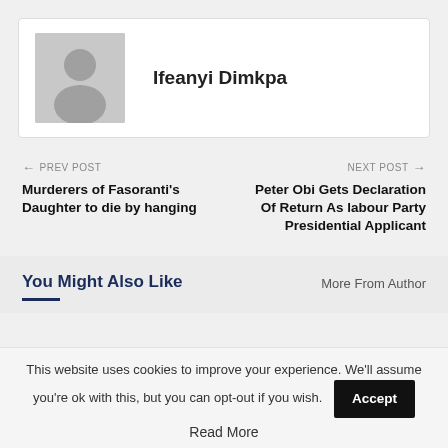[Figure (illustration): Gray placeholder avatar with silhouette of a person (head and shoulders)]
Ifeanyi Dimkpa
← PREV POST
Murderers of Fasoranti's Daughter to die by hanging
NEXT POST →
Peter Obi Gets Declaration Of Return As labour Party Presidential Applicant
You Might Also Like
More From Author
This website uses cookies to improve your experience. We'll assume you're ok with this, but you can opt-out if you wish.
Accept
Read More